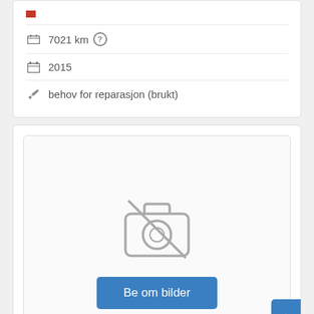7021 km
2015
behov for reparasjon (brukt)
[Figure (illustration): No photo placeholder icon (camera with a slash through it)]
Be om bilder
Lagre søk